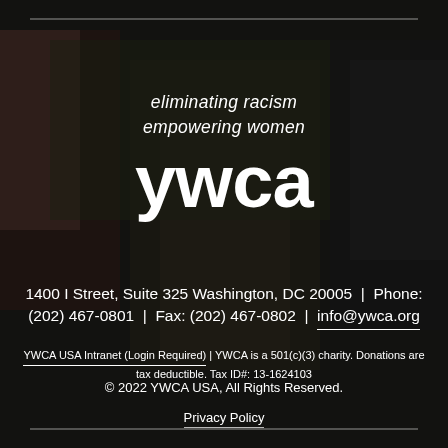[Figure (photo): Background photo of three women embracing from behind, one wearing a floral dress, set against a grass background. Dark overlay applied.]
eliminating racism empowering women ywca
1400 I Street, Suite 325 Washington, DC 20005 | Phone: (202) 467-0801 | Fax: (202) 467-0802 | info@ywca.org
YWCA USA Intranet (Login Required) | YWCA is a 501(c)(3) charity. Donations are tax deductible. Tax ID#: 13-1624103
© 2022 YWCA USA, All Rights Reserved.
Privacy Policy